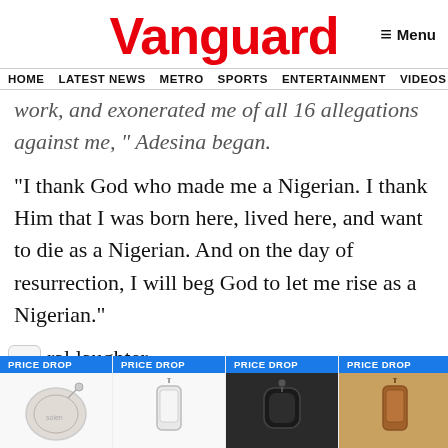Vanguard
HOME  LATEST NEWS  METRO  SPORTS  ENTERTAINMENT  VIDEOS
work, and exonerated me of all 16 allegations against me, “ Adesina began.
“I thank God who made me a Nigerian. I thank Him that I was born here, lived here, and want to die as a Nigerian. And on the day of resurrection, I will beg God to let me rise as a Nigerian.”
ral laughter.
[Figure (other): Advertisement showing four product cards each labeled PRICE DROP with product images (white round bag, phone case, black earphone case, brown phone case) and NOEMIC branding]